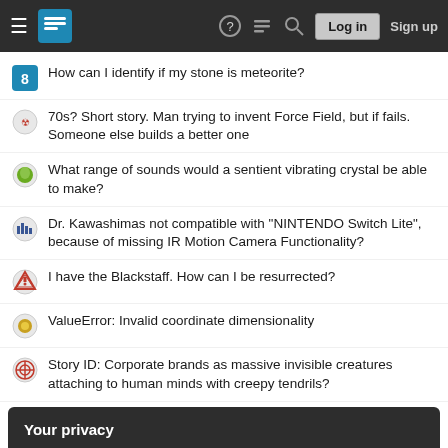Stack Exchange navigation bar with Log in and Sign up buttons
How can I identify if my stone is meteorite?
70s? Short story. Man trying to invent Force Field, but if fails. Someone else builds a better one
What range of sounds would a sentient vibrating crystal be able to make?
Dr. Kawashimas not compatible with "NINTENDO Switch Lite", because of missing IR Motion Camera Functionality?
I have the Blackstaff. How can I be resurrected?
ValueError: Invalid coordinate dimensionality
Story ID: Corporate brands as massive invisible creatures attaching to human minds with creepy tendrils?
Your privacy
By clicking "Accept all cookies", you agree Stack Exchange can store cookies on your device and disclose information in accordance with our Cookie Policy.
Accept all cookies   Customize settings
Component required to detect change of length.